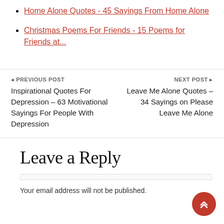Home Alone Quotes - 45 Sayings From Home Alone
Christmas Poems For Friends - 15 Poems for Friends at...
PREVIOUS POST
Inspirational Quotes For Depression – 63 Motivational Sayings For People With Depression
NEXT POST
Leave Me Alone Quotes – 34 Sayings on Please Leave Me Alone
Leave a Reply
Your email address will not be published.